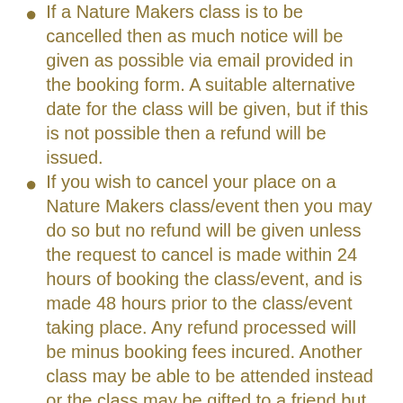If a Nature Makers class is to be cancelled then as much notice will be given as possible via email provided in the booking form. A suitable alternative date for the class will be given, but if this is not possible then a refund will be issued.
If you wish to cancel your place on a Nature Makers class/event then you may do so but no refund will be given unless the request to cancel is made within 24 hours of booking the class/event, and is made 48 hours prior to the class/event taking place. Any refund processed will be minus booking fees incured. Another class may be able to be attended instead or the class may be gifted to a friend but this is at the discretion of the Activity Provider.
The data captured within this form will be treated in accordance with our Nature Makers® Privacy